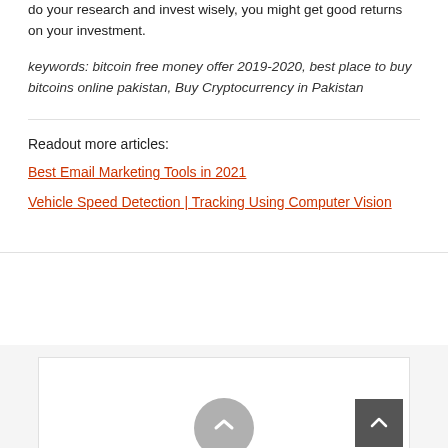do your research and invest wisely, you might get good returns on your investment.
keywords: bitcoin free money offer 2019-2020, best place to buy bitcoins online pakistan, Buy Cryptocurrency in Pakistan
Readout more articles:
Best Email Marketing Tools in 2021
Vehicle Speed Detection | Tracking Using Computer Vision
[Figure (other): Bottom section with a partially visible circular icon and a back-to-top button in the lower right corner]